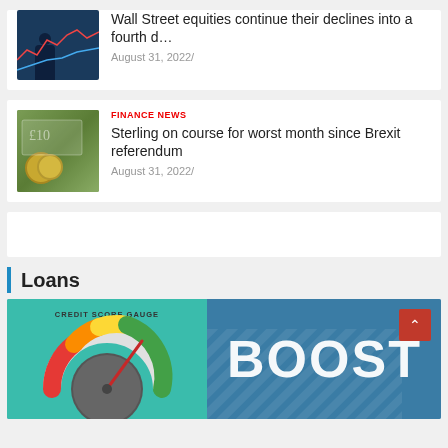[Figure (photo): Partial news card with stock market trader image and Wall Street headline, clipped at top of page]
Wall Street equities continue their declines into a fourth d…
August 31, 2022/
[Figure (photo): News card with British pound notes and coins image]
FINANCE NEWS
Sterling on course for worst month since Brexit referendum
August 31, 2022/
Loans
[Figure (photo): Credit score gauge on teal background on left side and BOOST text on blue striped background on right side, with red back-to-top button]